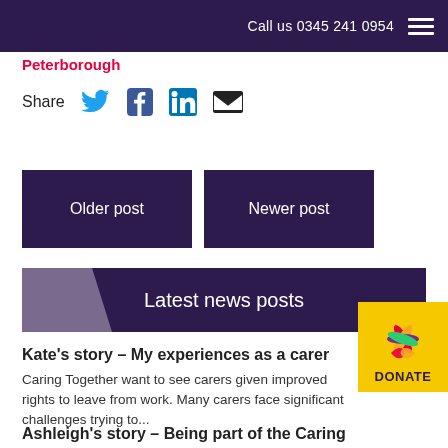Call us 0345 241 0954
Peterborough
Share
Older post
Newer post
Latest news posts
DONATE
Kate's story – My experiences as a carer
Caring Together want to see carers given improved rights to leave from work. Many carers face significant challenges trying to...
Ashleigh's story – Being part of the Caring